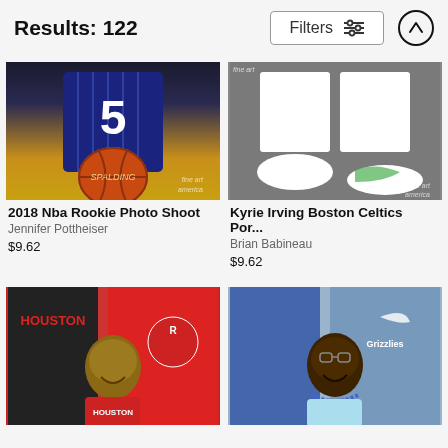Results: 122
[Figure (photo): NBA player in Orlando Magic #5 jersey holding a Spalding basketball against yellow/dark background. Fine Art America watermark visible.]
2018 Nba Rookie Photo Shoot
Jennifer Pottheiser
$9.62
[Figure (photo): Kyrie Irving legs/shoes in Boston Celtics uniform crouching on gray background. Fine Art America watermark visible.]
Kyrie Irving Boston Celtics Por...
Brian Babineau
$9.62
[Figure (photo): Young male basketball player smiling in Houston Rockets red jersey with Rockets jerseys hanging in background.]
[Figure (photo): Young male basketball player smiling in light blue Memphis Grizzlies jersey with Grizzlies jerseys hanging in background.]